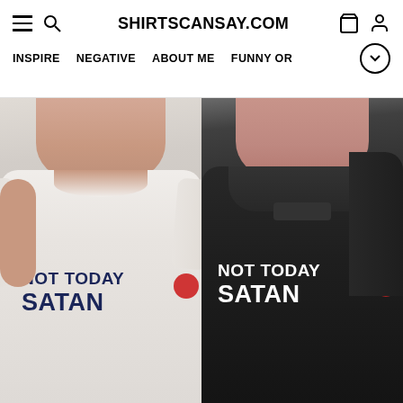SHIRTSCANSAY.COM — INSPIRE | NEGATIVE | ABOUT ME | FUNNY OR
[Figure (photo): Two male models side by side wearing shirts with 'NOT TODAY SATAN' text. Left model wears a light gray/white t-shirt with dark navy text. Right model wears a dark navy/black hoodie with white text. Both shirts display 'NOT TODAY SATAN' in bold uppercase letters.]